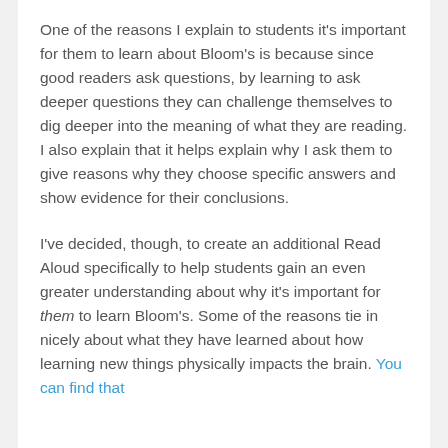One of the reasons I explain to students it's important for them to learn about Bloom's is because since good readers ask questions, by learning to ask deeper questions they can challenge themselves to dig deeper into the meaning of what they are reading. I also explain that it helps explain why I ask them to give reasons why they choose specific answers and show evidence for their conclusions.
I've decided, though, to create an additional Read Aloud specifically to help students gain an even greater understanding about why it's important for them to learn Bloom's. Some of the reasons tie in nicely about what they have learned about how learning new things physically impacts the brain. You can find that [link continues below visible area]